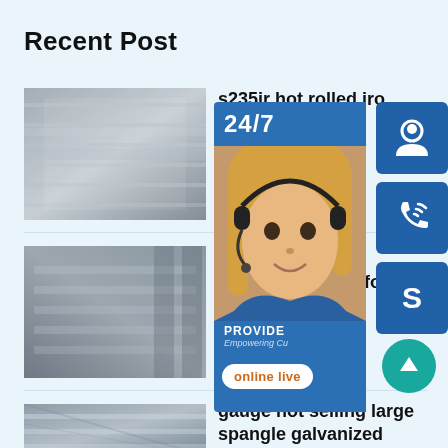Recent Post
[Figure (photo): Photo thumbnail of hot rolled iron plate/coil steel sheets]
s235jr hot rolled iro plate coil
August 29, 2020
[Figure (photo): Photo thumbnail of metal sheets stacked in warehouse]
geforce gtx 690 specifications gefo
August 29, 2020
[Figure (photo): Photo thumbnail of gauge galvanized steel sheets]
gauge hot selling large spangle galvanized steel sheet for c
[Figure (infographic): 24/7 customer support chat widget overlay with agent photo, PROVIDE Empowering Customers text, online live button, and three blue icon buttons (headset, phone, Skype) on the right side]
[Figure (illustration): Teal scroll-to-top circular button with upward arrow]